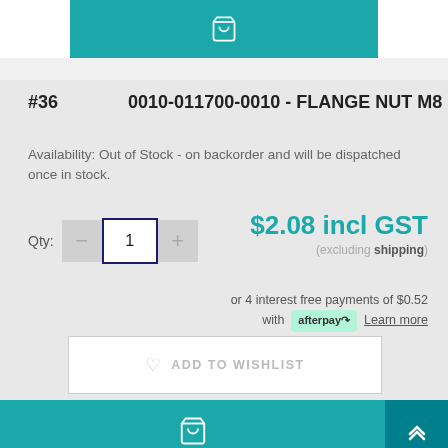[Figure (screenshot): Teal add-to-cart button at top with shopping cart icon]
#36   0010-011700-0010 - FLANGE NUT M8
Availability: Out of Stock - on backorder and will be dispatched once in stock.
Qty: 1   $2.08 incl GST (excluding shipping) or 4 interest free payments of $0.52 with afterpay Learn more
[Figure (screenshot): ADD TO WISHLIST button]
[Figure (screenshot): Teal add-to-cart button and scroll-up button]
#37   0GS0-0220A0 - CYLINDER HEAD SUB ASSY